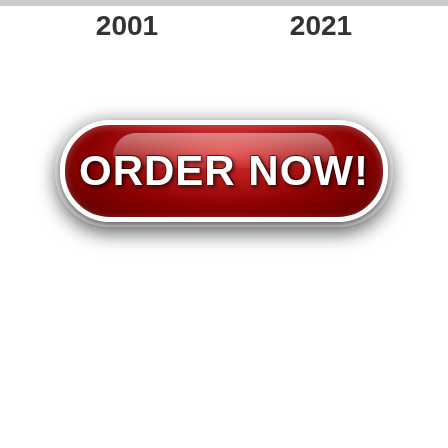2001
2021
[Figure (other): A large red glossy rounded-rectangle button with white bold text reading ORDER NOW!]